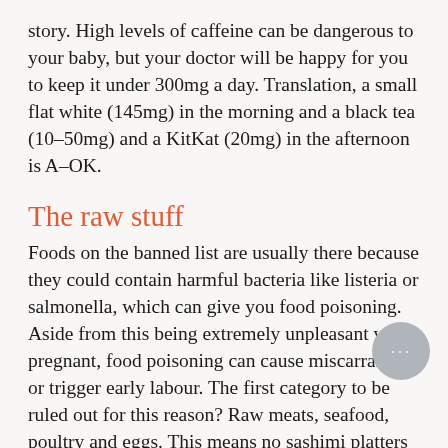story. High levels of caffeine can be dangerous to your baby, but your doctor will be happy for you to keep it under 300mg a day. Translation, a small flat white (145mg) in the morning and a black tea (10–50mg) and a KitKat (20mg) in the afternoon is A–OK.
The raw stuff
Foods on the banned list are usually there because they could contain harmful bacteria like listeria or salmonella, which can give you food poisoning. Aside from this being extremely unpleasant while pregnant, food poisoning can cause miscarraige or trigger early labour. The first category to be ruled out for this reason? Raw meats, seafood, poultry and eggs. This means no sashimi platters for a while and all your meat should be well cooked. Even your salmon. Raw eggs, in aioli, mayonnaise or desserts like mousse are also out.